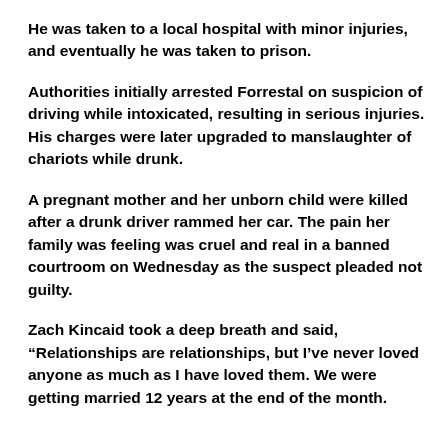He was taken to a local hospital with minor injuries, and eventually he was taken to prison.
Authorities initially arrested Forrestal on suspicion of driving while intoxicated, resulting in serious injuries. His charges were later upgraded to manslaughter of chariots while drunk.
A pregnant mother and her unborn child were killed after a drunk driver rammed her car. The pain her family was feeling was cruel and real in a banned courtroom on Wednesday as the suspect pleaded not guilty.
Zach Kincaid took a deep breath and said, “Relationships are relationships, but I’ve never loved anyone as much as I have loved them. We were getting married 12 years at the end of the month.